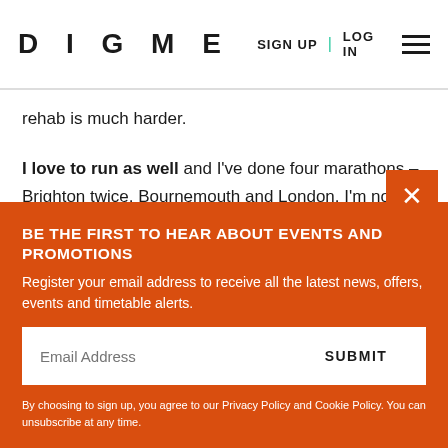DIGME | SIGN UP | LOG IN
rehab is much harder.
I love to run as well and I've done four marathons – Brighton twice, Bournemouth and London. I'm not training for anything at the moment – I'm thinking about giving myself this year off long-distance running. I'm getting quite into boxing and do one
BE THE FIRST TO HEAR ABOUT EVENTS AND PROMOTIONS
Register your email address to receive all the latest news, offers, events and timetable alerts.
Email Address
SUBMIT
By choosing to sign up, you agree to our Privacy Policy and Cookie Policy. You can unsubscribe at any time.